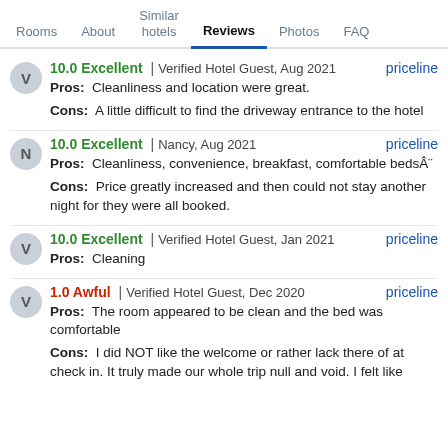Rooms | About | Similar hotels | Reviews | Photos | FAQ
10.0 Excellent | Verified Hotel Guest, Aug 2021 priceline
Pros: Cleanliness and location were great.
Cons: A little difficult to find the driveway entrance to the hotel
10.0 Excellent | Nancy, Aug 2021 priceline
Pros: Cleanliness, convenience, breakfast, comfortable beds
Cons: Price greatly increased and then could not stay another night for they were all booked.
10.0 Excellent | Verified Hotel Guest, Jan 2021 priceline
Pros: Cleaning
1.0 Awful | Verified Hotel Guest, Dec 2020 priceline
Pros: The room appeared to be clean and the bed was comfortable
Cons: I did NOT like the welcome or rather lack there of at check in. It truly made our whole trip null and void. I felt like